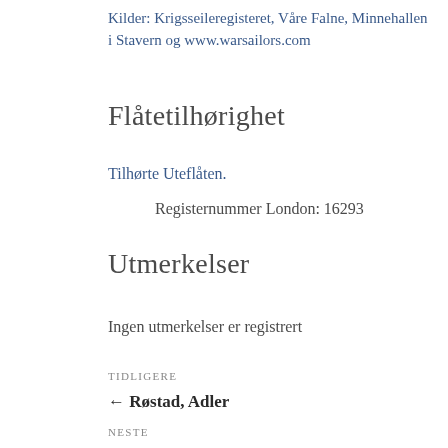Kilder: Krigsseileregisteret, Våre Falne, Minnehallen i Stavern og www.warsailors.com
Flåtetilhørighet
Tilhørte Uteflåten.
Registernummer London: 16293
Utmerkelser
Ingen utmerkelser er registrert
TIDLIGERE
← Røstad, Adler
NESTE